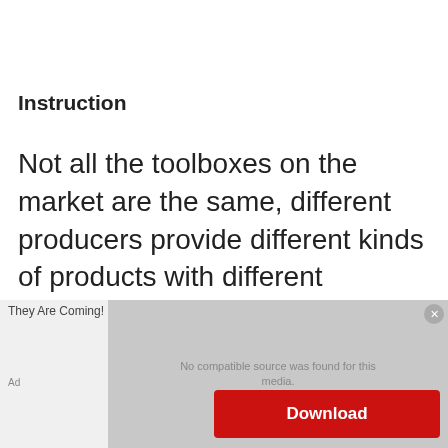Instruction
Not all the toolboxes on the market are the same, different producers provide different kinds of products with different features. Some are more complex than other boxes. Or maybe your kid needs the instruction to use it when you are not around. So it's better to have an instruction guide with the product you are buying.
[Figure (screenshot): Advertisement overlay showing a video player with 'No compatible source was found for this media.' message and a red Download button. Includes 'They Are Coming!' ad title and an 'Ad' label.]